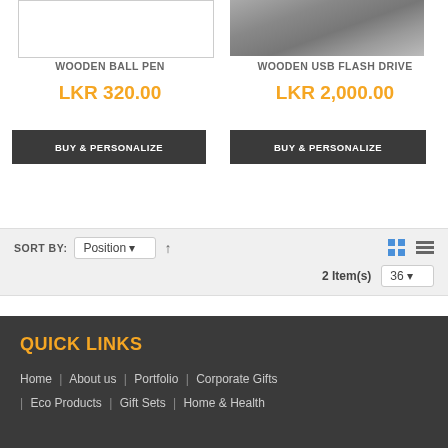[Figure (photo): White background product image placeholder for Wooden Ball Pen]
[Figure (photo): Photo of Wooden USB Flash Drive on stone/gravel background]
WOODEN BALL PEN
WOODEN USB FLASH DRIVE
LKR 320.00
LKR 2,000.00
BUY & PERSONALIZE
BUY & PERSONALIZE
SORT BY: Position ↑  2 Item(s)  36
QUICK LINKS
Home | About us | Portfolio | Corporate Gifts | Eco Products | Gift Sets | Home & Health